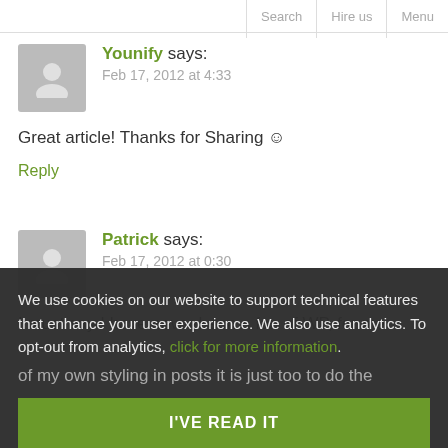Search   Hire us   Menu
Younify says:
Feb 17, 2012 at 4:33
Great article! Thanks for Sharing 🙂
Reply
Patrick says:
Feb 17, 2012 at 0:30
I must say I have never been a fan of WP, for me
We use cookies on our website to support technical features that enhance your user experience. We also use analytics. To opt-out from analytics, click for more information.
I'VE READ IT